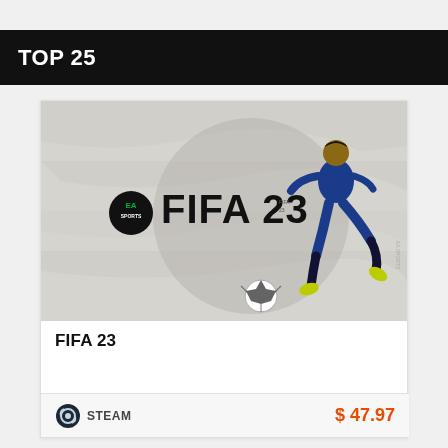TOP 25
[Figure (screenshot): FIFA 23 game cover art showing a soccer player in blue kit kicking a ball, with EA Sports FIFA 23 logo, on a grey marble-textured background with a circular design element]
FIFA 23
STEAM  $ 47.97